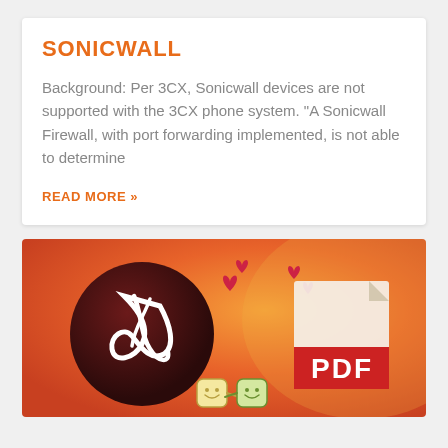SONICWALL
Background: Per 3CX, Sonicwall devices are not supported with the 3CX phone system. “A Sonicwall Firewall, with port forwarding implemented, is not able to determine
READ MORE »
[Figure (illustration): Orange-red gradient background with Adobe Acrobat logo (dark red circle with white swirl/feather symbol) on the left, small red heart symbols scattered at top, a PDF file icon on the right with red PDF label, and two cute illustrated toast characters holding hands at the bottom center.]